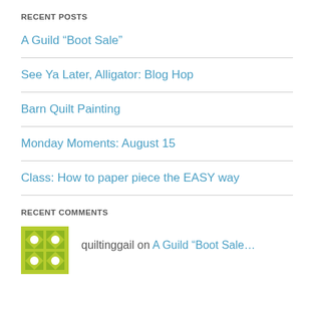RECENT POSTS
A Guild “Boot Sale”
See Ya Later, Alligator: Blog Hop
Barn Quilt Painting
Monday Moments: August 15
Class: How to paper piece the EASY way
RECENT COMMENTS
quiltinggail on A Guild “Boot Sale…